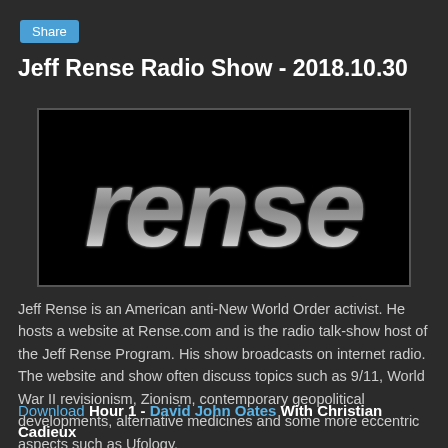Share
Jeff Rense Radio Show - 2018.10.30
[Figure (logo): Rense logo — metallic chrome-style italic lettering spelling 'rense' on black background]
Jeff Rense is an American anti-New World Order activist. He hosts a website at Rense.com and is the radio talk-show host of the Jeff Rense Program. His show broadcasts on internet radio. The website and show often discuss topics such as 9/11, World War II revisionism, Zionism, contemporary geopolitical developments, alternative medicines and some more eccentric aspects such as Ufology.
Download Hour 1 - David John Oates With Christian Cadieux